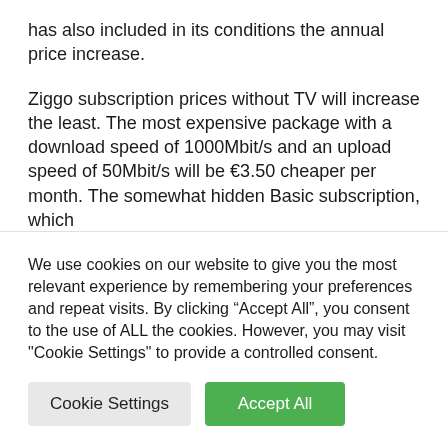has also included in its conditions the annual price increase.
Ziggo subscription prices without TV will increase the least. The most expensive package with a download speed of 1000Mbit/s and an upload speed of 50Mbit/s will be €3.50 cheaper per month. The somewhat hidden Basic subscription, which
We use cookies on our website to give you the most relevant experience by remembering your preferences and repeat visits. By clicking “Accept All”, you consent to the use of ALL the cookies. However, you may visit "Cookie Settings" to provide a controlled consent.